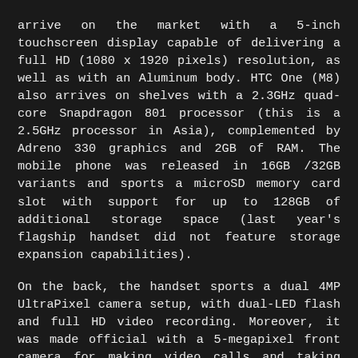arrive on the market with a 5-inch touchscreen display capable of delivering a full HD (1080 x 1920 pixels) resolution, as well as with an Aluminum body. HTC One (M8) also arrives on shelves with a 2.3GHz quad-core Snapdragon 801 processor (this is a 2.5GHz processor in Asia), complemented by Adreno 330 graphics and 2GB of RAM. The mobile phone was released in 16GB /32GB variants and sports a microSD memory card slot with support for up to 128GB of additional storage space (last year's flagship handset did not feature storage expansion capabilities).
On the back, the handset sports a dual 4MP UltraPixel camera setup, with dual-LED flash and full HD video recording. Moreover, it was made official with a 5-megapixel front camera for making video calls and taking selfies. Connectivity-wise, HTC One (M8) can deliver support for 4G LTE networks, 3G (HSDPA, 42 Mbps; HSUPA, 5.76 Mbps), Wi-Fi 802.11 a/b/g/n/ac, Bluetooth 4.0, NFC, infrared port, and built-in GPS receiver. The smartphone runs under the Android 4.4.2 KitKat platform with the Sense 6.0 UI loaded on top. However, HTC has already confirmed that it will be